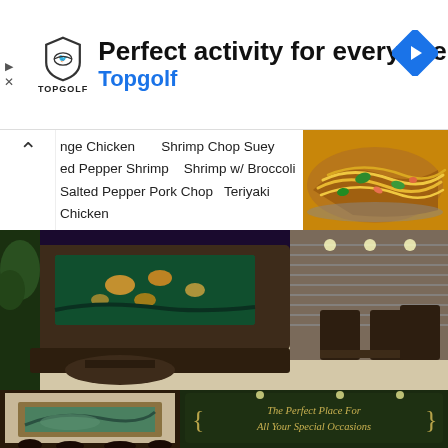[Figure (screenshot): Advertisement banner for Topgolf with shield logo, headline 'Perfect activity for everyone', subtext 'Topgolf', navigation arrow icon on right, play and X icons on left]
nge Chicken    Shrimp Chop Suey
ed Pepper Shrimp    Shrimp w/ Broccoli
Salted Pepper Pork Chop    Teriyaki Chicken
Salted Pepper Green Beans    Egg Rolls
Salted Pepper Chicken Wings
[Figure (photo): Chinese food dish - noodles with vegetables and shrimp on a silver tray]
[Figure (photo): Restaurant interior showing fish aquarium tank, dining tables and chairs in a modern Chinese restaurant setting]
[Figure (photo): Restaurant interior with framed landscape painting on left, and chalkboard sign on right reading 'The Perfect Place For All Your Special Occasions']